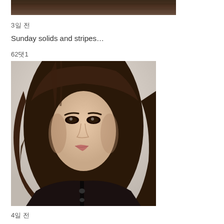[Figure (photo): Top portion of a photo showing dark brown wood or hair texture, cropped at top of page]
3일 전
Sunday solids and stripes…
62댓1
[Figure (photo): Close-up portrait of a young woman with long dark brown wavy hair, wearing a dark jacket, looking slightly to the side with a soft expression. Light background.]
4일 전